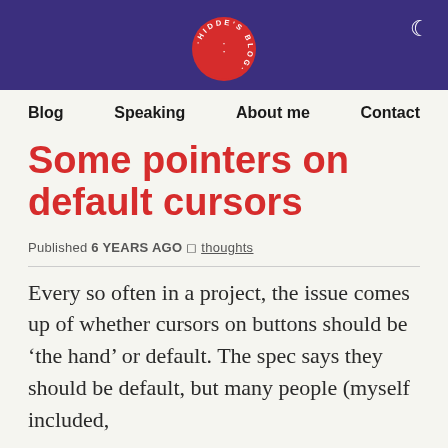Hidde's Blog — navigation: Blog, Speaking, About me, Contact
Some pointers on default cursors
Published 6 YEARS AGO · thoughts
Every so often in a project, the issue comes up of whether cursors on buttons should be 'the hand' or default. The spec says they should be default, but many people (myself included,